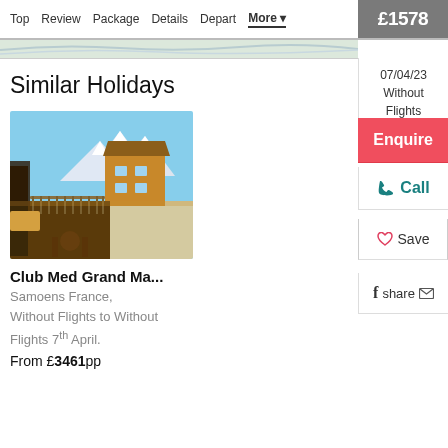Top  Review  Package  Details  Depart  More ▾  £1578
07/04/23
Without
Flights
Similar Holidays
[Figure (photo): Photo of Club Med Grand Massif hotel balcony/terrace view with wooden chalet architecture and snowy mountain backdrop in Samoens France]
Club Med Grand Ma...
Samoens France,
Without Flights to Without
Flights 7th April.
From £3461pp